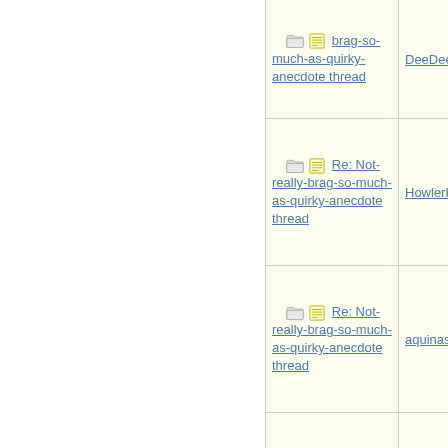| Subject | Author |
| --- | --- |
| Re: Not-really-brag-so-much-as-quirky-anecdote thread (partial) | DeeDee |
| Re: Not-really-brag-so-much-as-quirky-anecdote thread | HowlerKa |
| Re: Not-really-brag-so-much-as-quirky-anecdote thread | aquinas |
| Re: Not-really-brag-so-much-as-quirky-anecdote thread | chay |
| Re: Not-really-brag-so-much-as-quirky-anecdote thread | aquinas |
| Re: Not-really-brag-so-much-as-quirky-anecdote thread | aquinas |
| Re: Not-really-brag-so-much-as-quirky-anecdote thread (partial) | Nautigal |